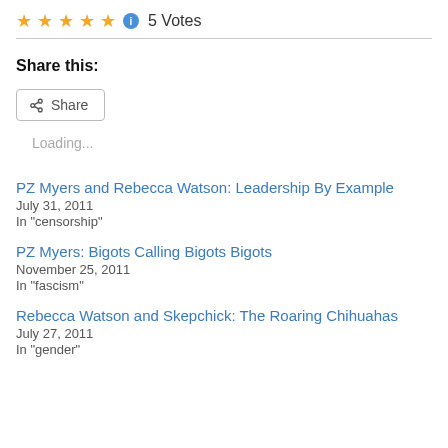[Figure (other): Five gold star rating icons followed by a blue info icon circle and '5 Votes' text]
Share this:
[Figure (other): Share button with share icon]
Loading...
PZ Myers and Rebecca Watson: Leadership By Example
July 31, 2011
In "censorship"
PZ Myers: Bigots Calling Bigots Bigots
November 25, 2011
In "fascism"
Rebecca Watson and Skepchick: The Roaring Chihuahas
July 27, 2011
In "gender"